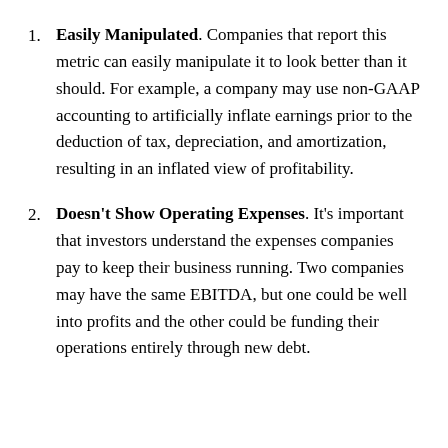Easily Manipulated. Companies that report this metric can easily manipulate it to look better than it should. For example, a company may use non-GAAP accounting to artificially inflate earnings prior to the deduction of tax, depreciation, and amortization, resulting in an inflated view of profitability.
Doesn't Show Operating Expenses. It's important that investors understand the expenses companies pay to keep their business running. Two companies may have the same EBITDA, but one could be well into profits and the other could be funding their operations entirely through new debt.